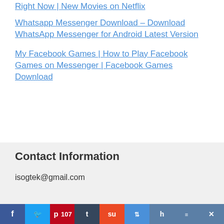Right Now | New Movies on Netflix
Whatsapp Messenger Download – Download WhatsApp Messenger for Android Latest Version
My Facebook Games | How to Play Facebook Games on Messenger | Facebook Games Download
Contact Information
isogtek@gmail.com
[Figure (other): Social share bar with Facebook, Twitter, Pinterest (107), Tumblr, StumbleUpon, Mix, Hacker News, more options, and close buttons]